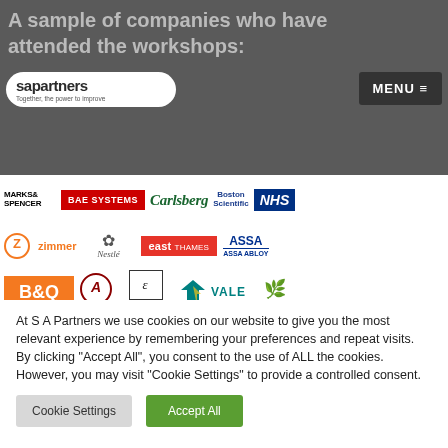A sample of companies who have attended the workshops:
[Figure (logo): SA Partners logo with text 'Together, the power to improve']
[Figure (screenshot): Grid of company logos: Marks & Spencer, BAE Systems, Carlsberg, Boston Scientific, NHS, Zimmer, Nestle, East Thames, ASSA ABLOY, B&Q, Accolade, Estee Lauder, Vale, Surrey]
At S A Partners we use cookies on our website to give you the most relevant experience by remembering your preferences and repeat visits. By clicking "Accept All", you consent to the use of ALL the cookies. However, you may visit "Cookie Settings" to provide a controlled consent.
Cookie Settings | Accept All